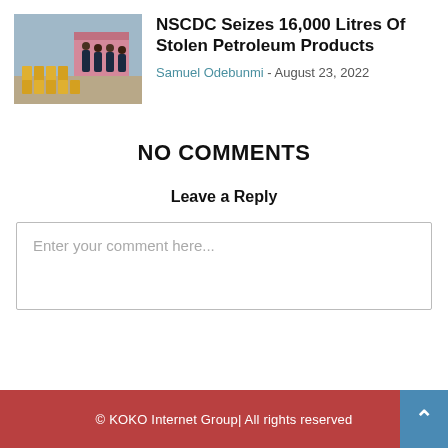[Figure (photo): Photo of NSCDC officers with rows of yellow jerry cans of seized petroleum products on the ground, with a pink building in the background.]
NSCDC Seizes 16,000 Litres Of Stolen Petroleum Products
Samuel Odebunmi - August 23, 2022
NO COMMENTS
Leave a Reply
Enter your comment here...
© KOKO Internet Group| All rights reserved